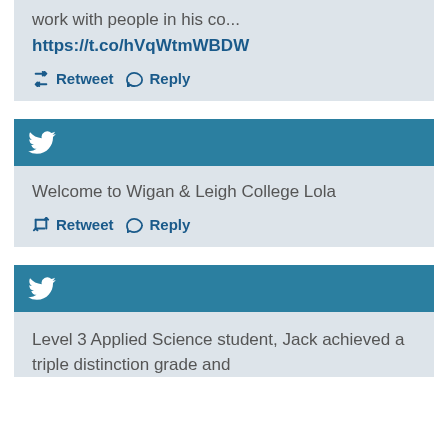[Figure (screenshot): Partial Twitter/social media card showing a URL link 'https://t.co/hVqWtmWBDW' with Retweet and Reply actions on a light blue-grey background]
[Figure (screenshot): Twitter card with teal header containing Twitter bird icon, body text 'Welcome to Wigan & Leigh College Lola' and Retweet/Reply actions]
[Figure (screenshot): Partial Twitter card with teal header containing Twitter bird icon, body text beginning 'Level 3 Applied Science student, Jack achieved a triple distinction grade and']